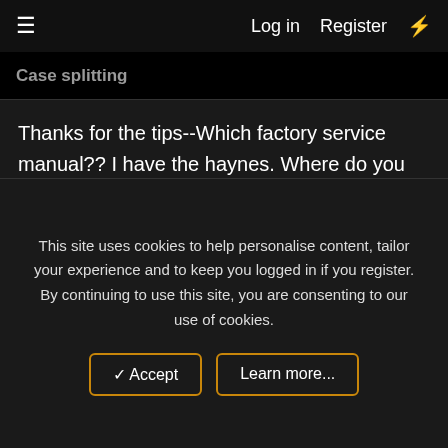Log in   Register
Case splitting
Thanks for the tips--Which factory service manual?? I have the haynes. Where do you get the factory manual??
debby
Dec 4, 2007  #5
Re: Case splitting
This site uses cookies to help personalise content, tailor your experience and to keep you logged in if you register.
By continuing to use this site, you are consenting to our use of cookies.
✓ Accept   Learn more...